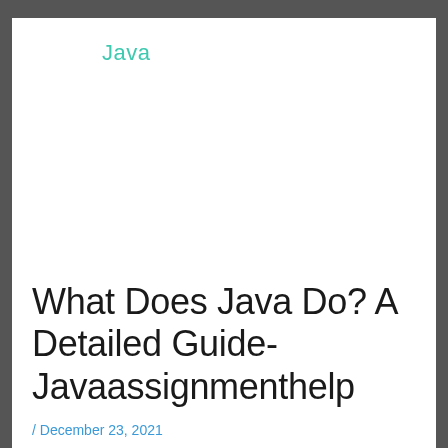Java
What Does Java Do? A Detailed Guide-Javaassignmenthelp
/ December 23, 2021